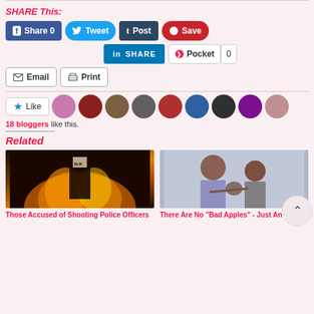SHARE This:
[Figure (screenshot): Social sharing buttons: Facebook Share 0, Tweet, Tumblr Post, Pinterest Save, LinkedIn SHARE, Pocket 0, Email, Print]
[Figure (screenshot): Like button with star icon and 9 blogger avatar thumbnails]
18 bloggers like this.
Related
[Figure (photo): Night protest scene with fire and person holding Black Lives Matter sign]
Those Accused of Shooting Police Officers
[Figure (photo): Two men at a press conference, one leaning on the other]
There Are No "Bad Apples" - Just An